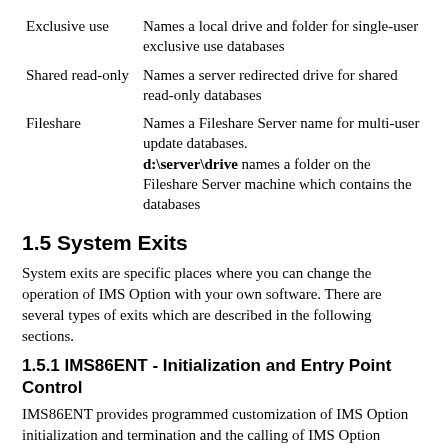| Term | Description |
| --- | --- |
| Exclusive use | Names a local drive and folder for single-user exclusive use databases |
| Shared read-only | Names a server redirected drive for shared read-only databases |
| Fileshare | Names a Fileshare Server name for multi-user update databases. d:\server\drive names a folder on the Fileshare Server machine which contains the databases |
1.5 System Exits
System exits are specific places where you can change the operation of IMS Option with your own software. There are several types of exits which are described in the following sections.
1.5.1 IMS86ENT - Initialization and Entry Point Control
IMS86ENT provides programmed customization of IMS Option initialization and termination and the calling of IMS Option applications. Some examples of uses are: